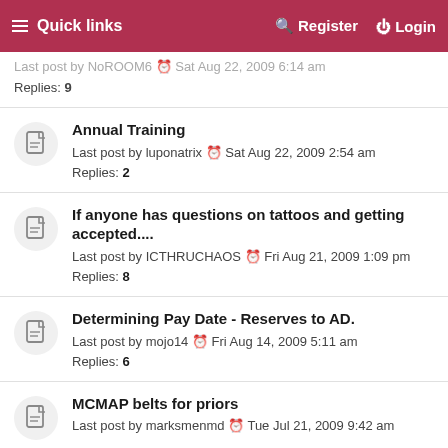Quick links  Register  Login
Last post by NoROOM6 • Sat Aug 22, 2009 6:14 am
Replies: 9
Annual Training
Last post by luponatrix • Sat Aug 22, 2009 2:54 am
Replies: 2
If anyone has questions on tattoos and getting accepted....
Last post by ICTHRUCHAOS • Fri Aug 21, 2009 1:09 pm
Replies: 8
Determining Pay Date - Reserves to AD.
Last post by mojo14 • Fri Aug 14, 2009 5:11 am
Replies: 6
MCMAP belts for priors
Last post by marksmenmd • Tue Jul 21, 2009 9:42 am